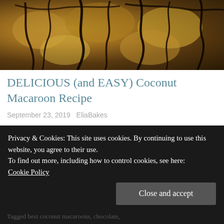[Figure (photo): Close-up photo of coconut macaroons drizzled with chocolate sauce, dark and golden tones]
DELICIOUS (and EASY) Coconut Macaroon Recipe
September 23, 2019   EliaBakes
I can't necessarily pinpoint when I had my first coconut macaroon, but what I can tell you without doubt, is that it must have been a joyous day... Coconut macaroons, when made
Privacy & Cookies: This site uses cookies. By continuing to use this website, you agree to their use.
To find out more, including how to control cookies, see here: Cookie Policy
[Close and accept]
Tagged best coconut macaroons, chocolate,